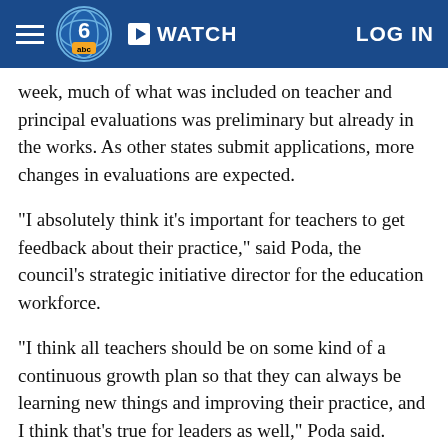WATCH  LOG IN
week, much of what was included on teacher and principal evaluations was preliminary but already in the works. As other states submit applications, more changes in evaluations are expected.
"I absolutely think it's important for teachers to get feedback about their practice," said Poda, the council's strategic initiative director for the education workforce.
"I think all teachers should be on some kind of a continuous growth plan so that they can always be learning new things and improving their practice, and I think that's true for leaders as well," Poda said.
-----
Associated Press writers Dorie Turner in Atlanta, Kristen